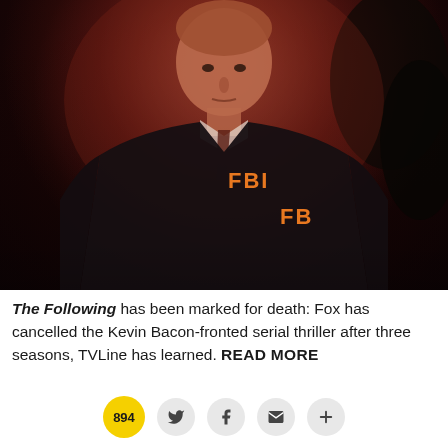[Figure (photo): A man wearing a dark FBI jacket with orange FBI lettering on the chest and side, photographed at night with reddish atmospheric lighting. The subject has a serious expression and is wearing a tie under the jacket.]
The Following has been marked for death: Fox has cancelled the Kevin Bacon-fronted serial thriller after three seasons, TVLine has learned. READ MORE
[Figure (infographic): Social sharing bar with comment count badge showing 894, Twitter button, Facebook button, email button, and plus button]